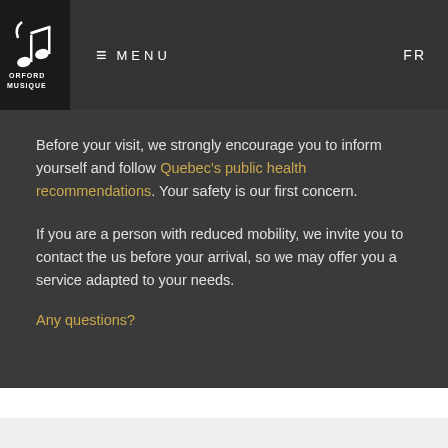≡ MENU   FR
[Figure (logo): Orford Musique logo with musical notes and text ORFORD MUSIQUE on dark background]
Before your visit, we strongly encourage you to inform yourself and follow Quebec's public health recommendations. Your safety is our first concern.
If you are a person with reduced mobility, we invite you to contact the us before your arrival, so we may offer you a service adapted to your needs.
Any questions?